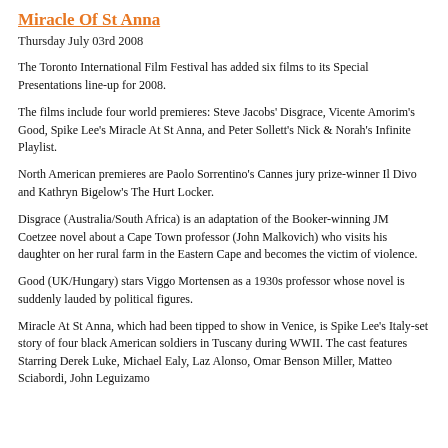Miracle Of St Anna
Thursday July 03rd 2008
The Toronto International Film Festival has added six films to its Special Presentations line-up for 2008.
The films include four world premieres: Steve Jacobs' Disgrace, Vicente Amorim's Good, Spike Lee's Miracle At St Anna, and Peter Sollett's Nick & Norah's Infinite Playlist.
North American premieres are Paolo Sorrentino's Cannes jury prize-winner Il Divo and Kathryn Bigelow's The Hurt Locker.
Disgrace (Australia/South Africa) is an adaptation of the Booker-winning JM Coetzee novel about a Cape Town professor (John Malkovich) who visits his daughter on her rural farm in the Eastern Cape and becomes the victim of violence.
Good (UK/Hungary) stars Viggo Mortensen as a 1930s professor whose novel is suddenly lauded by political figures.
Miracle At St Anna, which had been tipped to show in Venice, is Spike Lee's Italy-set story of four black American soldiers in Tuscany during WWII. The cast features Starring Derek Luke, Michael Ealy, Laz Alonso, Omar Benson Miller, Matteo Sciabordi, John Leguizamo